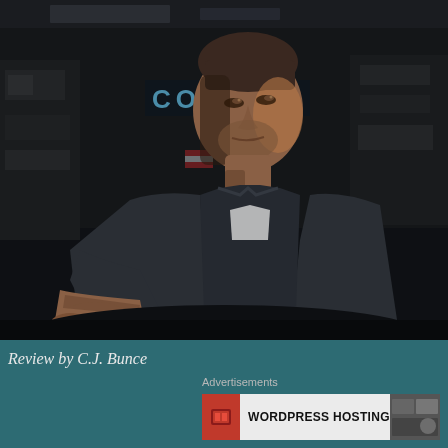[Figure (photo): A man in a dark jacket over a white t-shirt leans forward in a dimly lit industrial or garage setting. A sign reading 'COBRA' is visible in the background in blue lettering. The scene is dramatically lit with dark, moody tones.]
Review by C.J. Bunce
Advertisements
WORDPRESS HOSTING